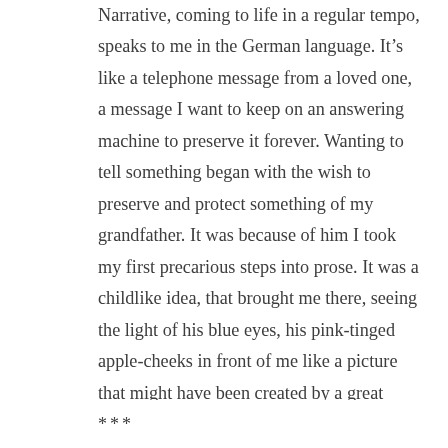Narrative, coming to life in a regular tempo, speaks to me in the German language. It's like a telephone message from a loved one, a message I want to keep on an answering machine to preserve it forever. Wanting to tell something began with the wish to preserve and protect something of my grandfather. It was because of him I took my first precarious steps into prose. It was a childlike idea, that brought me there, seeing the light of his blue eyes, his pink-tinged apple-cheeks in front of me like a picture that might have been created by a great painter, if he had set himself the task of making the interior qualities of a human visible in colour. My grandfather had a face that painters dream of. For me, his face was always the epitome of form and humanity. The first relative I experienced consciously wasn't a person; it was my grandfather's face.
***